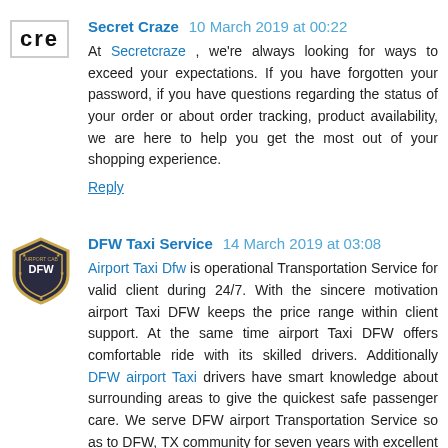Secret Craze  10 March 2019 at 00:22
At Secretcraze , we're always looking for ways to exceed your expectations. If you have forgotten your password, if you have questions regarding the status of your order or about order tracking, product availability, we are here to help you get the most out of your shopping experience.
Reply
DFW Taxi Service  14 March 2019 at 03:08
Airport Taxi Dfw is operational Transportation Service for valid client during 24/7. With the sincere motivation airport Taxi DFW keeps the price range within client support. At the same time airport Taxi DFW offers comfortable ride with its skilled drivers. Additionally DFW airport Taxi drivers have smart knowledge about surrounding areas to give the quickest safe passenger care. We serve DFW airport Transportation Service so as to DFW, TX community for seven years with excellent coordination of friendly and timely.